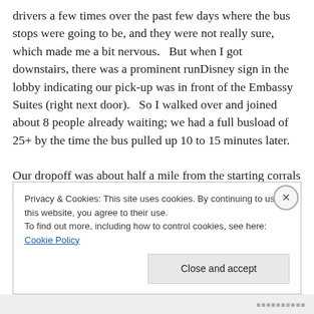drivers a few times over the past few days where the bus stops were going to be, and they were not really sure, which made me a bit nervous.   But when I got downstairs, there was a prominent runDisney sign in the lobby indicating our pick-up was in front of the Embassy Suites (right next door).   So I walked over and joined about 8 people already waiting; we had a full busload of 25+ by the time the bus pulled up 10 to 15 minutes later.

Our dropoff was about half a mile from the starting corrals — a nice stretch and warm up pre-race, but I suspected it
Privacy & Cookies: This site uses cookies. By continuing to use this website, you agree to their use.
To find out more, including how to control cookies, see here: Cookie Policy